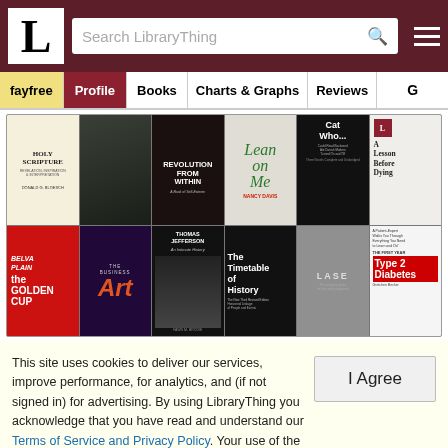[Figure (screenshot): LibraryThing website header with logo L, search bar, and hamburger menu on dark red background]
fayfree | Profile | Books | Charts & Graphs | Reviews
[Figure (photo): Grid of book covers in two rows of six books each: Holy Scripture, dark book, Revolution from Within, Lean on Me, Cat Who..., A Lesson Before Dying, Belva Plain The Golden Cup, The Business of Art, Thomas Jefferson, The Timetable of History, Laser book, Type 2 Diabetes]
This site uses cookies to deliver our services, improve performance, for analytics, and (if not signed in) for advertising. By using LibraryThing you acknowledge that you have read and understand our Terms of Service and Privacy Policy. Your use of the site and services is subject to these policies and terms.